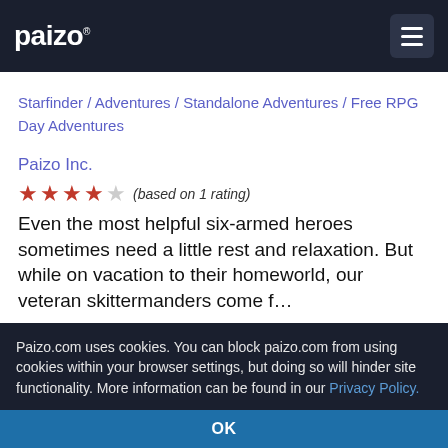paizo ☰
Starfinder / Adventures / Standalone Adventures / Free RPG Day Adventures
Paizo Inc.
★★★★☆ (based on 1 rating)
Even the most helpful six-armed heroes sometimes need a little rest and relaxation. But while on vacation to their homeworld, our veteran skittermanders come f…
Paizo.com uses cookies. You can block paizo.com from using cookies within your browser settings, but doing so will hinder site functionality. More information can be found in our Privacy Policy.
OK